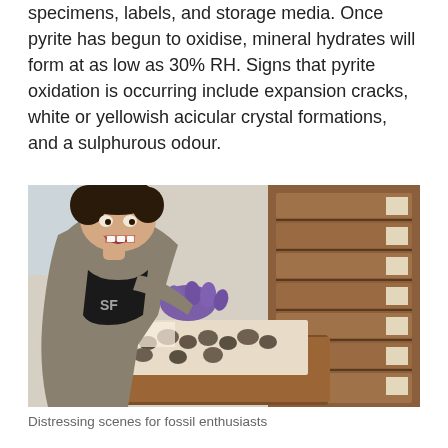specimens, labels, and storage media. Once pyrite has begun to oxidise, mineral hydrates will form at as low as 30% RH. Signs that pyrite oxidation is occurring include expansion cracks, white or yellowish acicular crystal formations, and a sulphurous odour.
[Figure (photo): A young man with an excited/surprised expression wearing purple nitrile gloves and a black t-shirt, leaning over an open wooden specimen drawer in a museum collection, examining fossil specimens inside. Behind him are multiple stacked wooden drawers of a specimen cabinet.]
Distressing scenes for fossil enthusiasts